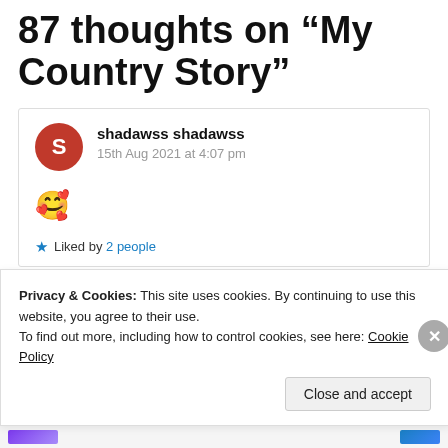87 thoughts on “My Country Story”
shadawss shadawss
15th Aug 2021 at 4:07 pm
🥰
Liked by 2 people
Privacy & Cookies: This site uses cookies. By continuing to use this website, you agree to their use.
To find out more, including how to control cookies, see here: Cookie Policy
Close and accept